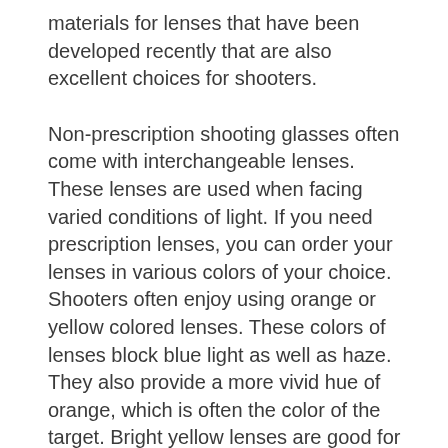materials for lenses that have been developed recently that are also excellent choices for shooters.
Non-prescription shooting glasses often come with interchangeable lenses. These lenses are used when facing varied conditions of light. If you need prescription lenses, you can order your lenses in various colors of your choice. Shooters often enjoy using orange or yellow colored lenses. These colors of lenses block blue light as well as haze. They also provide a more vivid hue of orange, which is often the color of the target. Bright yellow lenses are good for using in low light, or foggy weather conditions.
A light purple lens is particularly good for seeing an orange target when the background is green trees. Purple lenses are made from a mixture of vermillion and gray. Some shooters like vermilion, because this color helps see where there is a natural outdoor background,